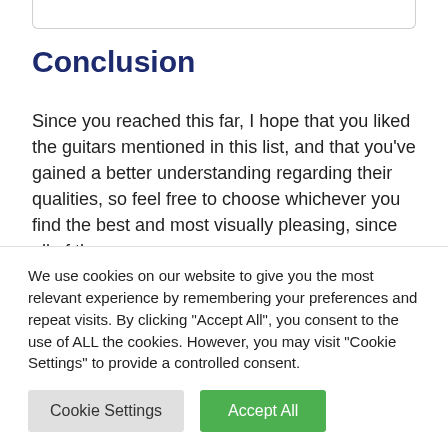Conclusion
Since you reached this far, I hope that you liked the guitars mentioned in this list, and that you’ve gained a better understanding regarding their qualities, so feel free to choose whichever you find the best and most visually pleasing, since all of them are
We use cookies on our website to give you the most relevant experience by remembering your preferences and repeat visits. By clicking “Accept All”, you consent to the use of ALL the cookies. However, you may visit “Cookie Settings” to provide a controlled consent.